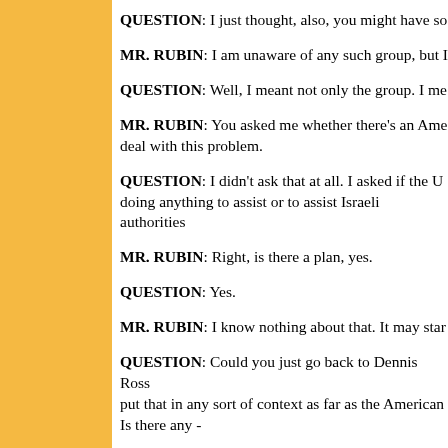QUESTION: I just thought, also, you might have so
MR. RUBIN: I am unaware of any such group, but I
QUESTION: Well, I meant not only the group. I me
MR. RUBIN: You asked me whether there's an Ame deal with this problem.
QUESTION: I didn't ask that at all. I asked if the U doing anything to assist or to assist Israeli authorities
MR. RUBIN: Right, is there a plan, yes.
QUESTION: Yes.
MR. RUBIN: I know nothing about that. It may star
QUESTION: Could you just go back to Dennis Ross put that in any sort of context as far as the American Is there any -
MR. RUBIN: We have no position in the upcoming
QUESTION: Ambassador Ross' speech there rather